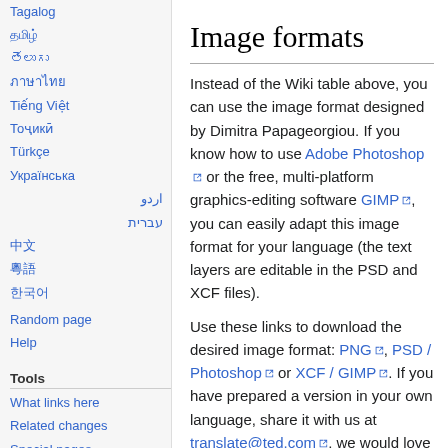Tagalog
தமிழ்
తెలుగు
ภาษาไทย
Tiếng Việt
Тоҷикӣ
Türkçe
Українська
اردو
עברית
中文
粵語
한국어
Random page
Help
Tools
What links here
Related changes
Special pages
Printable version
Permanent link
Page information
Image formats
Instead of the Wiki table above, you can use the image format designed by Dimitra Papageorgiou. If you know how to use Adobe Photoshop or the free, multi-platform graphics-editing software GIMP, you can easily adapt this image format for your language (the text layers are editable in the PSD and XCF files).
Use these links to download the desired image format: PNG, PSD / Photoshop or XCF / GIMP. If you have prepared a version in your own language, share it with us at translate@ted.com, we would love to spread the news!
[Figure (illustration): Colorful diagonal stripes in blue, magenta/pink, yellow, and cyan colors forming a banner image]